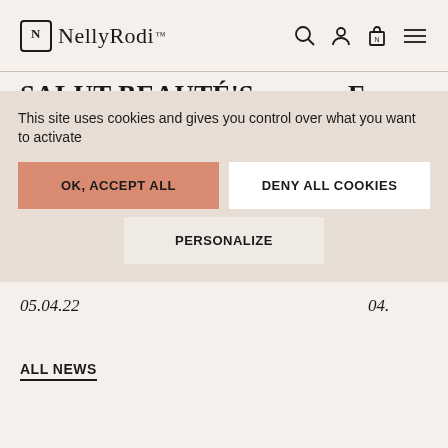NellyRodi
SALUT BEAUTÉ'S SURPRISING RISE FROM INDUSTRY OUTSIDER TO DRESSING STARS
05.04.22
ALL NEWS
F... C...
04...
This site uses cookies and gives you control over what you want to activate
OK, ACCEPT ALL
DENY ALL COOKIES
PERSONALIZE